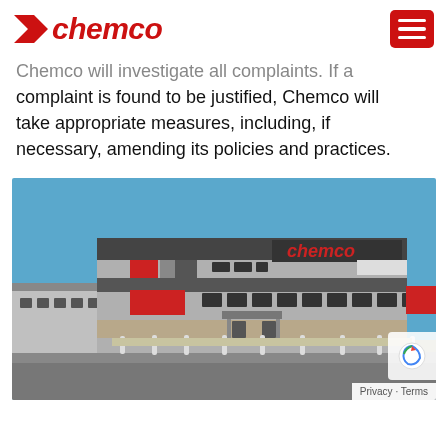chemco [logo with hamburger menu]
Chemco will investigate all complaints. If a complaint is found to be justified, Chemco will take appropriate measures, including, if necessary, amending its policies and practices.
[Figure (photo): Exterior photo of the Chemco building — a modern industrial/commercial facility with grey and red cladding, 'chemco' lettering on the facade, large windows, and white bollards in the foreground parking area under a clear blue sky.]